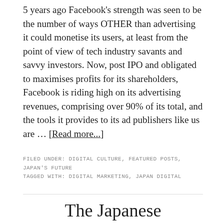5 years ago Facebook's strength was seen to be the number of ways OTHER than advertising it could monetise its users, at least from the point of view of tech industry savants and savvy investors. Now, post IPO and obligated to maximises profits for its shareholders, Facebook is riding high on its advertising revenues, comprising over 90% of its total, and the tools it provides to its ad publishers like us are … [Read more...]
FILED UNDER: DIGITAL CULTURE, FEATURED POSTS, JAPAN'S FUTURE
TAGGED WITH: DIGITAL MARKETING, JAPAN DIGITAL
The Japanese